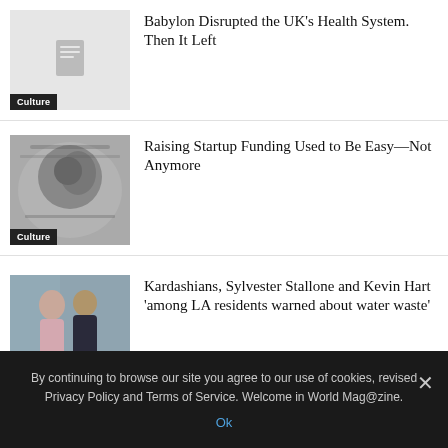[Figure (photo): Grey placeholder thumbnail with document icon, Culture badge overlay]
Babylon Disrupted the UK’s Health System. Then It Left
[Figure (photo): Black and white close-up of US dollar bills featuring Benjamin Franklin, Culture badge overlay]
Raising Startup Funding Used to Be Easy—Not Anymore
[Figure (photo): Photo of a couple, man and woman, at an event, Culture badge overlay]
Kardashians, Sylvester Stallone and Kevin Hart ‘among LA residents warned about water waste’
[Figure (photo): Photo of a man in a green/teal shirt]
Peter Andre reveals he was once told he ‘looked like a terrorist’ by stranger in
By continuing to browse our site you agree to our use of cookies, revised Privacy Policy and Terms of Service. Welcome in World Mag@zine.
Ok